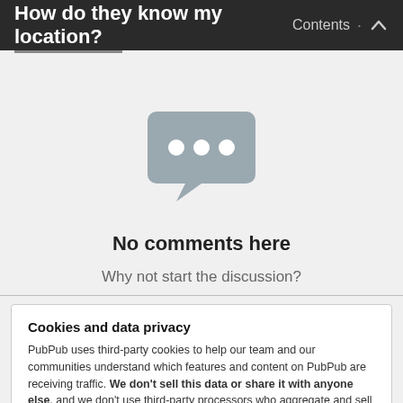How do they know my location? Contents
[Figure (illustration): Speech bubble icon with three dots, indicating a comments/discussion area]
No comments here
Why not start the discussion?
Cookies and data privacy
PubPub uses third-party cookies to help our team and our communities understand which features and content on PubPub are receiving traffic. We don't sell this data or share it with anyone else, and we don't use third-party processors who aggregate and sell data. Visit your privacy settings to learn more.